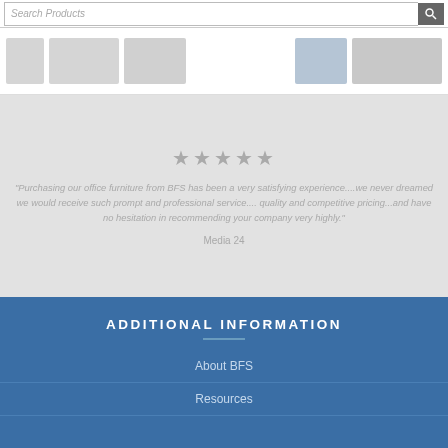Search Products
[Figure (screenshot): Navigation bar with BFS logo icons and category icons]
"Purchasing our office furniture from BFS has been a very satisfying experience....we never dreamed we would receive such prompt and professional service.... quality and competitive pricing...and have no hesitation in recommending your company very highly."
Media 24
ADDITIONAL INFORMATION
About BFS
Resources